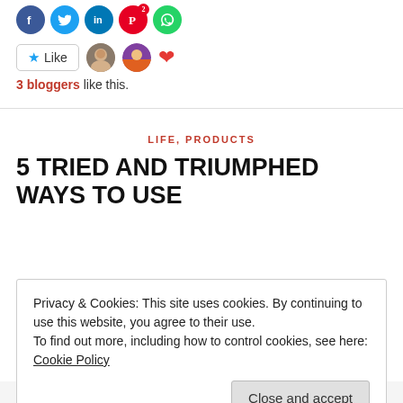[Figure (other): Row of social media share icons: Facebook (blue), Twitter (light blue), LinkedIn (blue), Pinterest (red with badge '2'), WhatsApp (green)]
[Figure (other): Like button with star icon, two avatar photos, and a red heart icon]
3 bloggers like this.
LIFE, PRODUCTS
5 TRIED AND TRIUMPHED WAYS TO USE
Privacy & Cookies: This site uses cookies. By continuing to use this website, you agree to their use.
To find out more, including how to control cookies, see here:
Cookie Policy
Close and accept